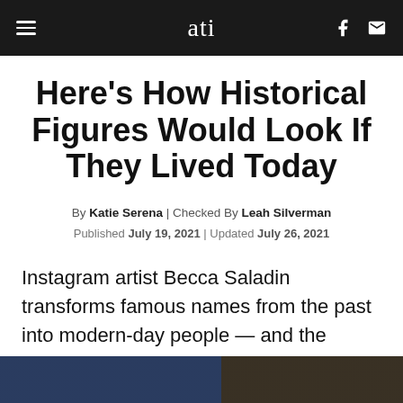ati
Here’s How Historical Figures Would Look If They Lived Today
By Katie Serena | Checked By Leah Silverman
Published July 19, 2021 | Updated July 26, 2021
Instagram artist Becca Saladin transforms famous names from the past into modern-day people — and the results are stunning.
1 of 45
[Figure (photo): Bottom portion of a photograph, partially visible, showing two people or subjects with dark tones.]